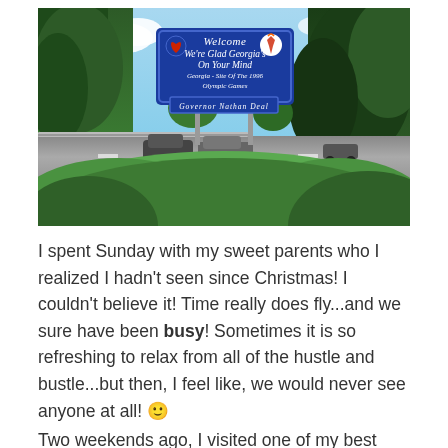[Figure (photo): Photo of a Georgia Welcome sign at state border. The blue sign reads: Welcome / We're Glad Georgia's On Your Mind / Georgia - Site Of The 1996 Olympic Games / Governor Nathan Deal. Surrounded by trees, a highway with cars, guardrail, and green bushes in foreground.]
I spent Sunday with my sweet parents who I realized I hadn't seen since Christmas! I couldn't believe it! Time really does fly...and we sure have been busy! Sometimes it is so refreshing to relax from all of the hustle and bustle...but then, I feel like, we would never see anyone at all! 🙂
Two weekends ago, I visited one of my best friends and